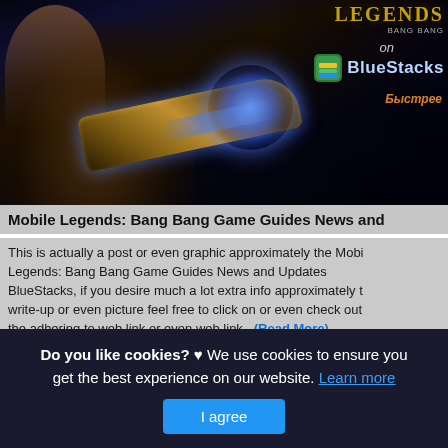[Figure (screenshot): Mobile Legends: Bang Bang game screenshot showing a character with a large cannon weapon, with BlueStacks logo overlay in top right corner showing 'LEGENDS on BlueStacks' branding]
Mobile Legends: Bang Bang Game Guides News and
This is actually a post or even graphic approximately the Mobile Legends: Bang Bang Game Guides News and Updates BlueStacks, if you desire much a lot extra info approximately the write-up or even picture feel free to click on or even check out the adhering to web link or even web link . (Read More)
Source: www.bluestacks.com
Do you like cookies? ♥ We use cookies to ensure you get the best experience on our website. Learn more
I agree